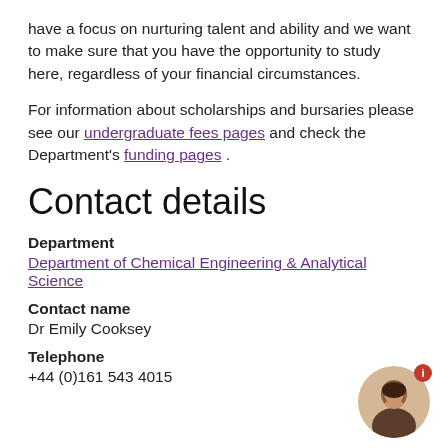have a focus on nurturing talent and ability and we want to make sure that you have the opportunity to study here, regardless of your financial circumstances.
For information about scholarships and bursaries please see our undergraduate fees pages and check the Department's funding pages .
Contact details
Department
Department of Chemical Engineering & Analytical Science
Contact name
Dr Emily Cooksey
Telephone
+44 (0)161 543 4015